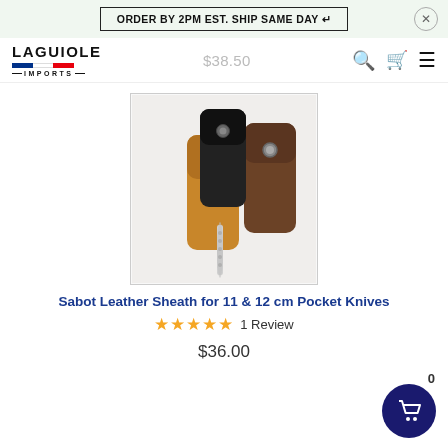ORDER BY 2PM EST. SHIP SAME DAY ↵
[Figure (logo): Laguiole Imports logo with French flag colors]
$38.50
[Figure (photo): Three leather sheaths for pocket knives in black, tan, and brown colors, with a knife visible]
Sabot Leather Sheath for 11 & 12 cm Pocket Knives
★★★★★  1 Review
$36.00